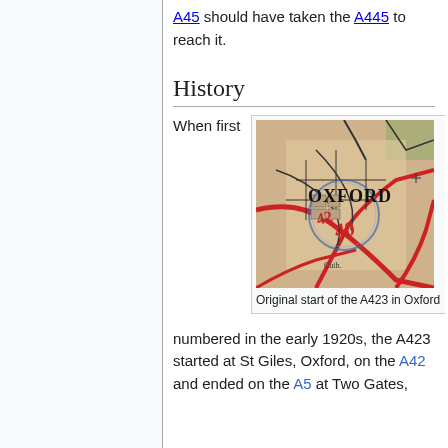A45 should have taken the A445 to reach it.
History
When first
[Figure (map): Old map showing Oxford city centre with red road markings and the label OXFORD in bold serif text. Numbers in red overlay the road network.]
Original start of the A423 in Oxford
numbered in the early 1920s, the A423 started at St Giles, Oxford, on the A42 and ended on the A5 at Two Gates,